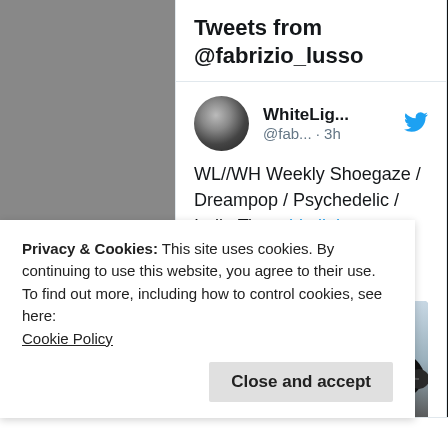Tweets from @fabrizio_lusso
WhiteLig... @fab... · 3h
WL//WH Weekly Shoegaze / Dreampop / Psychedelic / Indie Tips whitelight-whiteheat.com/wl-wh-weekly-s...
[Figure (photo): Thumbnail image of a dark umbrella-like shape against a light gray/blue sky background]
Privacy & Cookies: This site uses cookies. By continuing to use this website, you agree to their use.
To find out more, including how to control cookies, see here: Cookie Policy
Close and accept